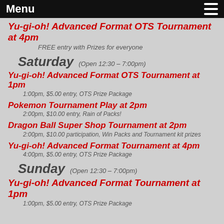Menu
Yu-gi-oh! Advanced Format OTS Tournament at 4pm
FREE entry with Prizes for everyone
Saturday (Open 12:30 – 7:00pm)
Yu-gi-oh! Advanced Format OTS Tournament at 1pm
1:00pm, $5.00 entry, OTS Prize Package
Pokemon Tournament Play at 2pm
2:00pm, $10.00 entry, Rain of Packs!
Dragon Ball Super Shop Tournament at 2pm
2:00pm, $10.00 participation, Win Packs and Tournament kit prizes
Yu-gi-oh! Advanced Format Tournament at 4pm
4:00pm, $5.00 entry, OTS Prize Package
Sunday (Open 12:30 – 7:00pm)
Yu-gi-oh! Advanced Format Tournament at 1pm
1:00pm, $5.00 entry, OTS Prize Package